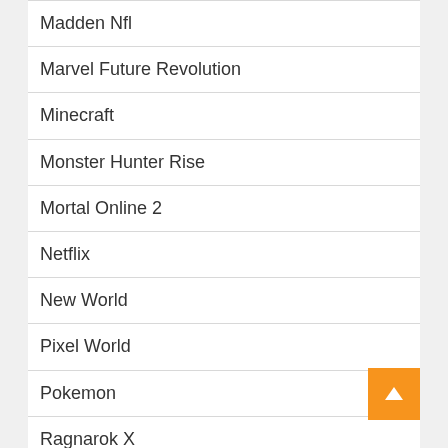Madden Nfl
Marvel Future Revolution
Minecraft
Monster Hunter Rise
Mortal Online 2
Netflix
New World
Pixel World
Pokemon
Ragnarok X
Raid:shadow-Legends